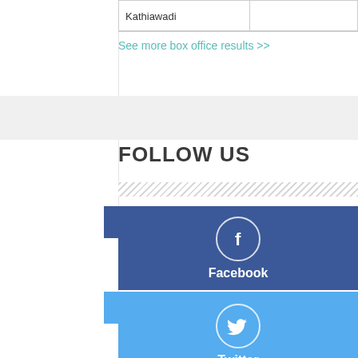| Kathiawadi |  |
See more box office results >>
FOLLOW US
[Figure (infographic): Facebook social media follow button — dark blue background with white Facebook 'f' icon in a circle, labeled 'Facebook']
[Figure (infographic): Twitter social media follow button — light blue background with white Twitter bird icon in a circle, labeled 'Twitter']
[Figure (infographic): Google+ social media follow button — red background with white G+ icon in a circle, partially visible]